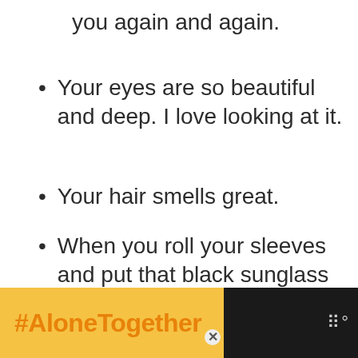you again and again.
Your eyes are so beautiful and deep. I love looking at it.
Your hair smells great.
When you roll your sleeves and put that black sunglass on. I can't resist staring at
[Figure (infographic): #AloneTogether advertisement banner at the bottom of the page with orange hashtag text on yellow background and a dark panel on the right with an image placeholder and speaker icon dots]